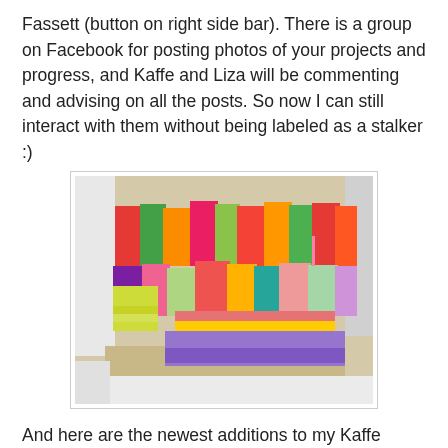Fassett (button on right side bar). There is a group on Facebook for posting photos of your projects and progress, and Kaffe and Liza will be commenting and advising on all the posts. So now I can still interact with them without being labeled as a stalker :)
[Figure (photo): A table covered with colorful folded fabric bundles in bright colors including red, green, pink, orange, yellow, and purple, arranged in stacks.]
And here are the newest additions to my Kaffe stash! Maybe I went a little overboard, but this is the last year that the festival will be in Chicago, so who knows when I'll again have the opportunity to be in the same room with all that Kaffe goodness?! I think I may have even turned my friend Andrea on to his fabrics too while we shopped together on Sunday! Now what I could really use is a winning lottery ticket.